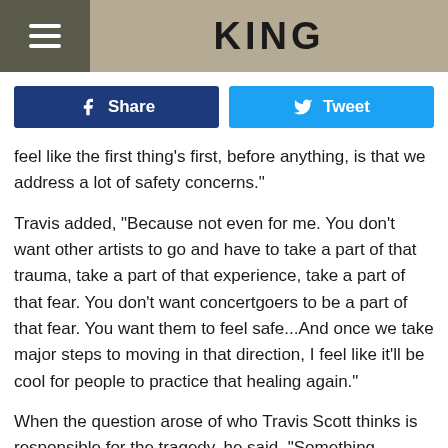KING
feel like the first thing's first, before anything, is that we address a lot of safety concerns."
Travis added, "Because not even for me. You don't want other artists to go and have to take a part of that trauma, take a part of that experience, take a part of that fear. You don't want concertgoers to be a part of that fear. You want them to feel safe...And once we take major steps to moving in that direction, I feel like it'll be cool for people to practice that healing again."
When the question arose of who Travis Scott thinks is responsible for the tragedy, he said, "Something happened